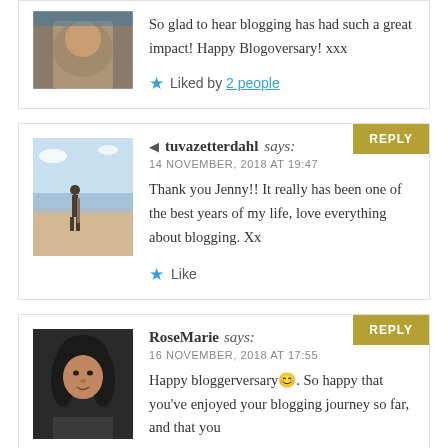So glad to hear blogging has had such a great impact! Happy Blogoversary! xxx
★ Liked by 2 people
[Figure (photo): Avatar photo of tuvazetterdahl – person on a beach]
tuvazetterdahl says:
14 NOVEMBER, 2018 AT 19:47
Thank you Jenny!! It really has been one of the best years of my life, love everything about blogging. Xx
★ Like
[Figure (photo): Avatar photo of RoseMarie – portrait photo]
RoseMarie says:
16 NOVEMBER, 2018 AT 17:55
Happy bloggerversary 😊. So happy that you've enjoyed your blogging journey so far, and that you